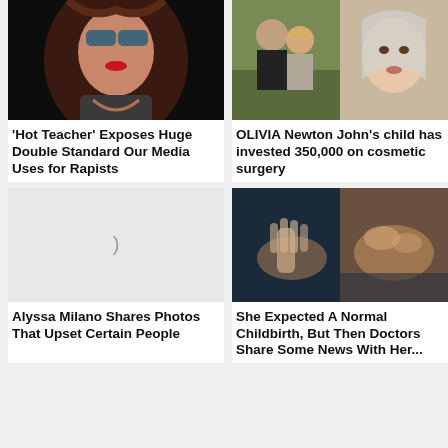[Figure (photo): Woman with sunglasses and red lipstick, dark background]
'Hot Teacher' Exposes Huge Double Standard Our Media Uses for Rapists
[Figure (photo): Two people outdoors and a woman with silver/gray hair]
OLIVIA Newton John's child has invested 350,000 on cosmetic surgery
[Figure (photo): Loading placeholder image with spinner symbol]
Alyssa Milano Shares Photos That Upset Certain People
[Figure (photo): Childbirth scene with hands and medical setting]
She Expected A Normal Childbirth, But Then Doctors Share Some News With Her...